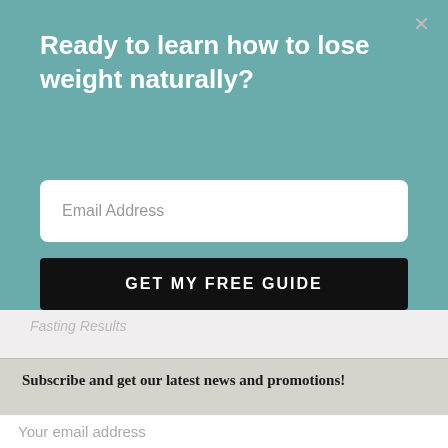Ready to learn how to lose weight naturally?
Email Address
GET MY FREE GUIDE
Fasting Results
Subscribe and get our latest news and promotions!
Your email address